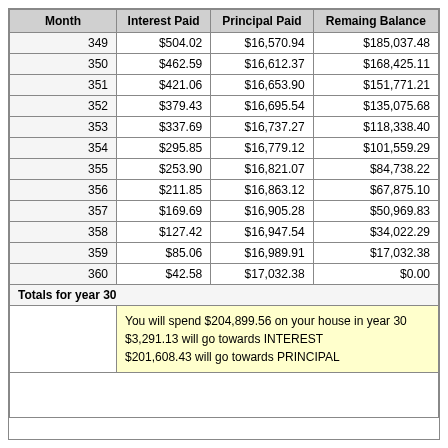| Month | Interest Paid | Principal Paid | Remaing Balance |
| --- | --- | --- | --- |
| 349 | $504.02 | $16,570.94 | $185,037.48 |
| 350 | $462.59 | $16,612.37 | $168,425.11 |
| 351 | $421.06 | $16,653.90 | $151,771.21 |
| 352 | $379.43 | $16,695.54 | $135,075.68 |
| 353 | $337.69 | $16,737.27 | $118,338.40 |
| 354 | $295.85 | $16,779.12 | $101,559.29 |
| 355 | $253.90 | $16,821.07 | $84,738.22 |
| 356 | $211.85 | $16,863.12 | $67,875.10 |
| 357 | $169.69 | $16,905.28 | $50,969.83 |
| 358 | $127.42 | $16,947.54 | $34,022.29 |
| 359 | $85.06 | $16,989.91 | $17,032.38 |
| 360 | $42.58 | $17,032.38 | $0.00 |
| Totals for year 30 |  |  |  |
|  | You will spend $204,899.56 on your house in year 30
$3,291.13 will go towards INTEREST
$201,608.43 will go towards PRINCIPAL |  |  |
|  |  |  |  |